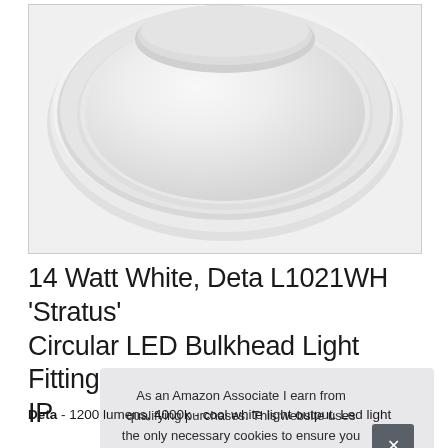[Figure (photo): White circular LED bulkhead light fitting viewed from above, showing a round flat disc with a recessed frosted diffuser panel, all white finish, photographed against a white background]
14 Watt White, Deta L1021WH 'Stratus' Circular LED Bulkhead Light Fitting IP
As an Amazon Associate I earn from qualifying purchases. This website uses the only necessary cookies to ensure you get the best experience on our website. More information
Deta - 1200 lumens, 4000k - cool white light output. Led light